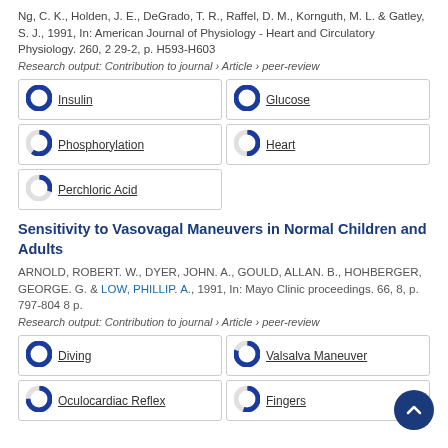Ng, C. K., Holden, J. E., DeGrado, T. R., Raffel, D. M., Kornguth, M. L. & Gatley, S. J., 1991, In: American Journal of Physiology - Heart and Circulatory Physiology. 260, 2 29-2, p. H593-H603
Research output: Contribution to journal › Article › peer-review
[Figure (infographic): Five keyword badges with donut/pie icons: Insulin (100%), Glucose (100%), Phosphorylation (60%), Heart (50%), Perchloric Acid (30%)]
Sensitivity to Vasovagal Maneuvers in Normal Children and Adults
ARNOLD, ROBERT. W., DYER, JOHN. A., GOULD, ALLAN. B., HOHBERGER, GEORGE. G. & LOW, PHILLIP. A., 1991, In: Mayo Clinic proceedings. 66, 8, p. 797-804 8 p.
Research output: Contribution to journal › Article › peer-review
[Figure (infographic): Four keyword badges with donut/pie icons: Diving (100%), Valsalva Maneuver (80%), Oculocardiac Reflex (75%), Fingers (55%)]